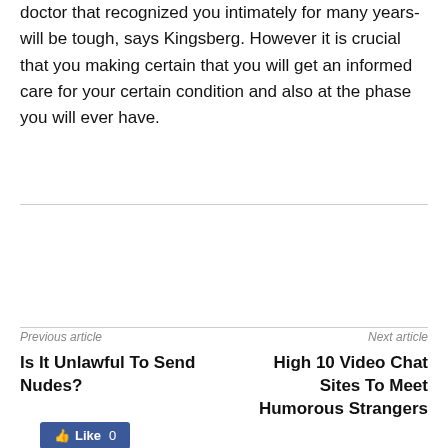doctor that recognized you intimately for many years-will be tough, says Kingsberg. However it is crucial that you making certain that you will get an informed care for your certain condition and also at the phase you will ever have.
[Figure (other): Facebook Like button showing 'Like 0']
Previous article: Is It Unlawful To Send Nudes? | Next article: High 10 Video Chat Sites To Meet Humorous Strangers